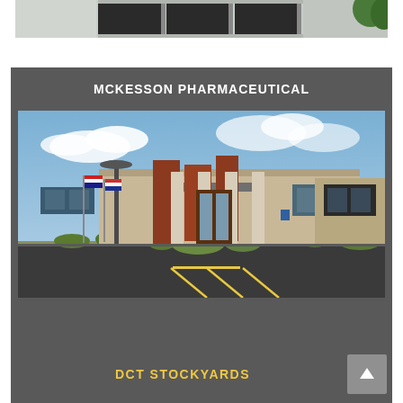[Figure (photo): Partial view of a building exterior, top portion only visible, showing glass windows and facade]
[Figure (photo): McKesson Pharmaceutical building exterior: modern commercial/industrial building with brick and tan facade, columns at entrance, flags, parking lot in foreground, blue sky with clouds]
MCKESSON PHARMACEUTICAL
DCT STOCKYARDS